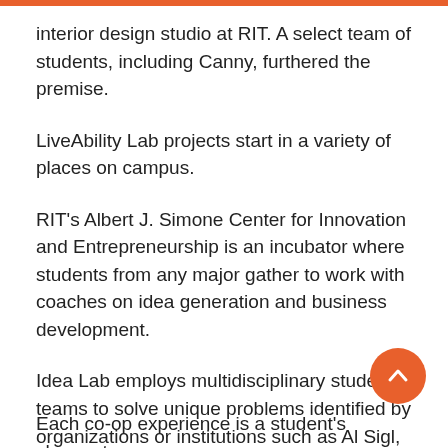interior design studio at RIT. A select team of students, including Canny, furthered the premise.
LiveAbility Lab projects start in a variety of places on campus.
RIT's Albert J. Simone Center for Innovation and Entrepreneurship is an incubator where students from any major gather to work with coaches on idea generation and business development.
Idea Lab employs multidisciplinary student teams to solve unique problems identified by organizations or institutions such as Al Sigl, Rochester Regional Health, and others.
Each co-op experience is a student's chance to...